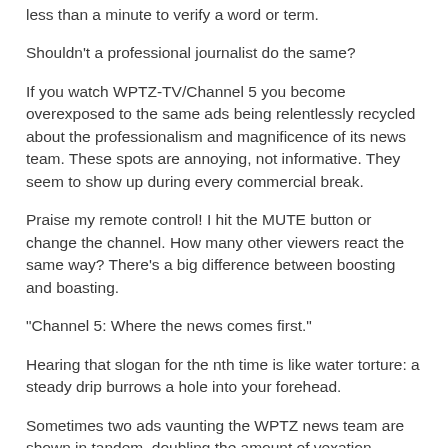less than a minute to verify a word or term.
Shouldn't a professional journalist do the same?
If you watch WPTZ-TV/Channel 5 you become overexposed to the same ads being relentlessly recycled about the professionalism and magnificence of its news team.  These spots are annoying, not informative.  They seem to show up during every commercial break.
Praise my remote control!  I hit the MUTE button or change the channel.  How many other viewers react the same way?  There's a big difference between boosting and boasting.
"Channel 5: Where the news comes first."
Hearing that slogan for the nth time is like water torture: a steady drip burrows a hole into your forehead.
Sometimes two ads vaunting the WPTZ news team are shown in tandem, doubling the amount of vexation.